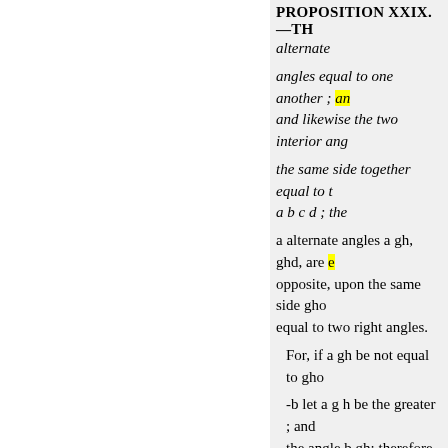PROPOSITION XXIX.—TH
alternate
angles equal to one another ; and and likewise the two interior ang
the same side together equal to t a b c d ; the
a alternate angles a gh, ghd, are e opposite, upon the same side gho equal to two right angles.
For, if a gh be not equal to gho
-b let a g h be the greater ; and the angle b gh; therefore the angl
d the angles bg h, ghd; but the an
f angles ; therefore the angles bgl another straight line falling upon do meet (12 ax:) together if conti enough, shall meet ; but they nev is not unequal to the angle g h d, therefore likewise eg b is equal to are equal to the angles bgh, ghd.